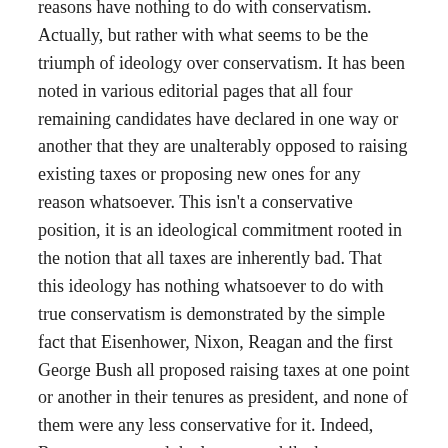reasons have nothing to do with conservatism. Actually, but rather with what seems to be the triumph of ideology over conservatism. It has been noted in various editorial pages that all four remaining candidates have declared in one way or another that they are unalterably opposed to raising existing taxes or proposing new ones for any reason whatsoever. This isn't a conservative position, it is an ideological commitment rooted in the notion that all taxes are inherently bad. That this ideology has nothing whatsoever to do with true conservatism is demonstrated by the simple fact that Eisenhower, Nixon, Reagan and the first George Bush all proposed raising taxes at one point or another in their tenures as president, and none of them were any less conservative for it. Indeed, Reagan sponsored the largest tax hike by percentage in American history when he proposed the self-employment tax be raised from about 9 percent to the full 15.3 percent, thus requiring the self-employed to carry the full FICA tax burden employers share with their employees.
On the other hand, the second president Bush, by sponsoring both the Medicare prescription supplement and the first TARP (Troubled Asset Relief Program) legislation without paying for a single penny of either, ruled in what The Economist characterized at the time as the